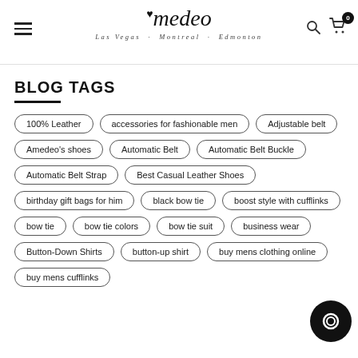Amedeo — Las Vegas · Montreal · Edmonton
BLOG TAGS
100% Leather
accessories for fashionable men
Adjustable belt
Amedeo's shoes
Automatic Belt
Automatic Belt Buckle
Automatic Belt Strap
Best Casual Leather Shoes
birthday gift bags for him
black bow tie
boost style with cufflinks
bow tie
bow tie colors
bow tie suit
business wear
Button-Down Shirts
button-up shirt
buy mens clothing online
buy mens cufflinks